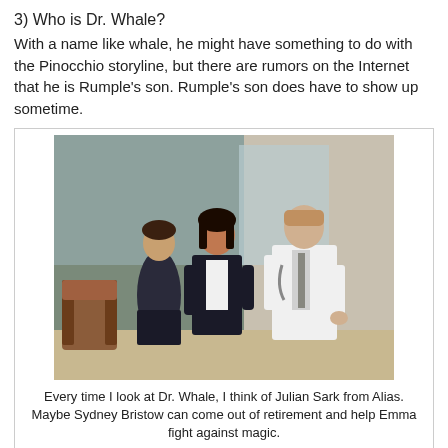3) Who is Dr. Whale?
With a name like whale, he might have something to do with the Pinocchio storyline, but there are rumors on the Internet that he is Rumple's son. Rumple's son does have to show up sometime.
[Figure (photo): Scene from Once Upon a Time showing three characters in a hospital setting: a young woman in dark clothing in the background, a woman in a black suit in the middle, and a man in a white doctor's coat with a stethoscope on the right.]
Every time I look at Dr. Whale, I think of Julian Sark from Alias. Maybe Sydney Bristow can come out of retirement and help Emma fight against magic.
4) If the curse is broken, can people leave? Can they go back to their fairytale lives somehow?